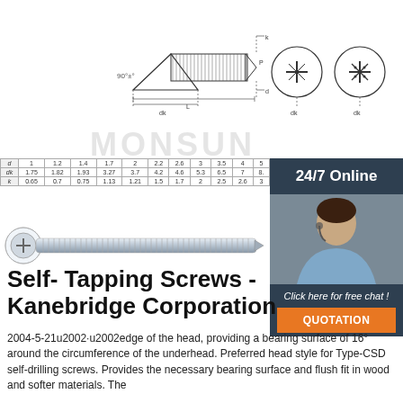[Figure (engineering-diagram): Technical drawing of a countersunk self-tapping screw showing side profile with dimensions (k, d, L, P) and 90° head angle, plus two top-view cross-section circles showing Phillips and Pozidriv drive types. Labeled: dk, k dimensions.]
| d | 1 | 1.2 | 1.4 | 1.7 | 2 | 2.2 | 2.6 | 3 | 3.5 | 4 | 5 |
| --- | --- | --- | --- | --- | --- | --- | --- | --- | --- | --- | --- |
| dk | 1.75 | 1.82 | 1.93 | 3.27 | 3.7 | 4.2 | 4.6 | 5.3 | 6.5 | 7 | 8. |
| k | 0.65 | 0.7 | 0.75 | 1.13 | 1.21 | 1.5 | 1.7 | 2 | 2.5 | 2.6 | 3 |
[Figure (photo): Photograph of a silver zinc-plated self-tapping countersunk screw with Phillips head, shown at an angle with close-up of head end highlighted in a circle.]
[Figure (photo): Sidebar: 24/7 Online chat support — woman wearing headset smiling, with 'Click here for free chat!' text and orange QUOTATION button.]
Self- Tapping Screws - Kanebridge Corporation
2004-5-21u2002·u2002edge of the head, providing a bearing surface of 16° around the circumference of the underhead. Preferred head style for Type-CSD self-drilling screws. Provides the necessary bearing surface and flush fit in wood and softer materials. The